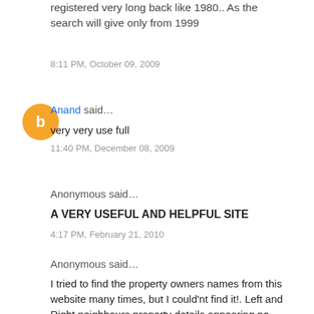...How can we get a certificate which is registered very long back like 1980.. As the search will give only from 1999
8:11 PM, October 09, 2009
Anand said...
very very use full
11:40 PM, December 08, 2009
Anonymous said...
A VERY USEFUL AND HELPFUL SITE
4:17 PM, February 21, 2010
Anonymous said...
I tried to find the property owners names from this website many times, but I could'nt find it!. Left and Right neighbours property details appearing no problem !!